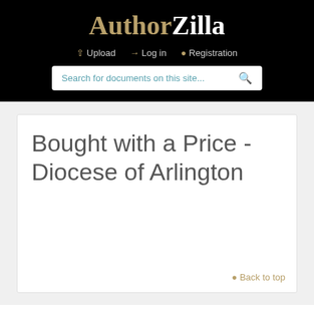AuthorZilla
Upload   Log in   Registration
Search for documents on this site...
Bought with a Price - Diocese of Arlington
Back to top